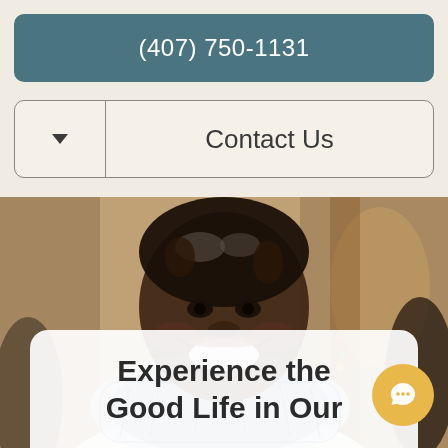(407) 750-1131
Contact Us
[Figure (photo): Smiling middle-aged Black woman with gray-streaked hair wearing a blue and white patterned scarf, photographed indoors with warm blurred background]
Experience the Good Life in Our